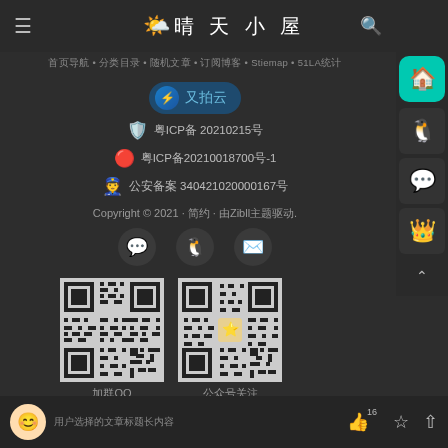晴天小屋
首页导航 • 分类目录 • 随机文章 • 订阅博客 • Stiemap • 51LA统计
[Figure (logo): 又拍云 CDN badge with blue icon]
粤ICP备 20210215号
粤ICP备20210018700号-1
公安备案 340421020000167号
Copyright © 2021 · 简约 · 由Zibll主题驱动.
[Figure (other): Social icons: WeChat, QQ, Email buttons]
[Figure (other): QQ group QR code]
[Figure (other): WeChat official account QR code]
加群QQ
公众号关注
用户头像 点赞数16 收藏 分享